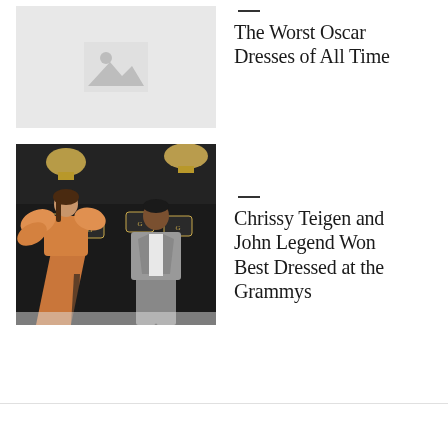[Figure (photo): Placeholder image with mountain/landscape icon on light grey background]
The Worst Oscar Dresses of All Time
[Figure (photo): Photo of Chrissy Teigen in orange ruffled gown and John Legend in grey suit at Grammy Awards red carpet]
Chrissy Teigen and John Legend Won Best Dressed at the Grammys